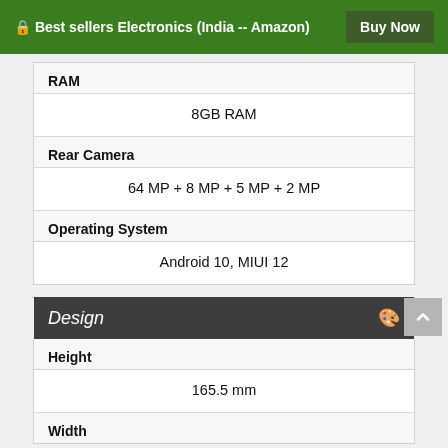🔒 Best sellers Electronics (India -- Amazon)  Buy Now
| RAM | 8GB RAM |
| Rear Camera | 64 MP + 8 MP + 5 MP + 2 MP |
| Operating System | Android 10, MIUI 12 |
Design
| Height | 165.5 mm |
| Width |  |